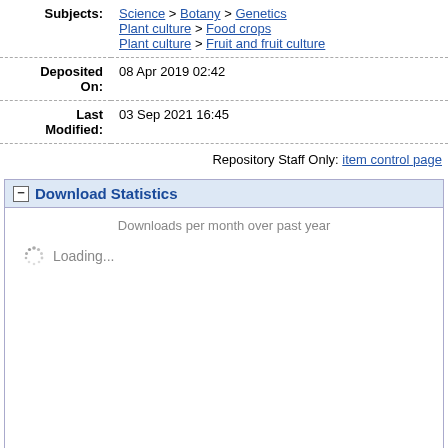| Subjects: | Science > Botany > Genetics
Plant culture > Food crops
Plant culture > Fruit and fruit culture |
| Deposited On: | 08 Apr 2019 02:42 |
| Last Modified: | 03 Sep 2021 16:45 |
Repository Staff Only: item control page
Download Statistics
Downloads per month over past year
Loading...